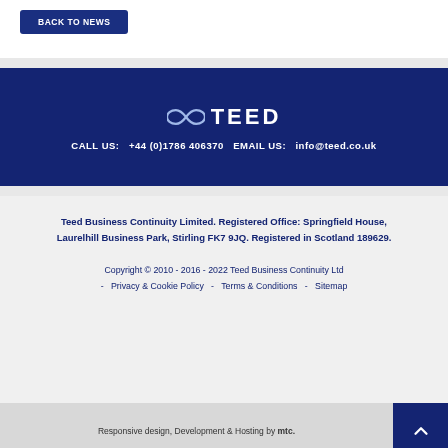BACK TO NEWS
[Figure (logo): Infinity symbol followed by TEED text logo in white on navy background]
CALL US:  +44 (0)1786 406370  EMAIL US:  info@teed.co.uk
Teed Business Continuity Limited. Registered Office: Springfield House, Laurelhill Business Park, Stirling FK7 9JQ. Registered in Scotland 189629.
Copyright © 2010 - 2016 - 2022 Teed Business Continuity Ltd  -  Privacy & Cookie Policy  -  Terms & Conditions  -  Sitemap
Responsive design, Development & Hosting by mtc.